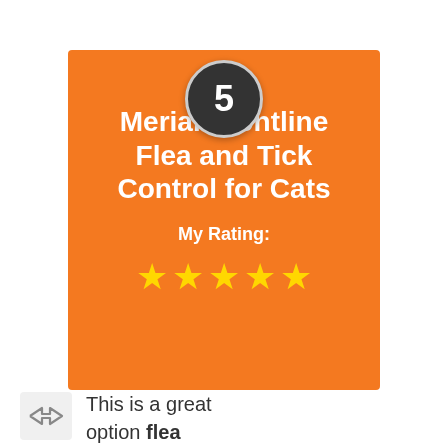[Figure (infographic): Orange card with number 5 in dark circle at top, product title 'Merial Frontline Flea and Tick Control for Cats', rating label 'My Rating:' and 5 yellow stars]
This is a great option flea